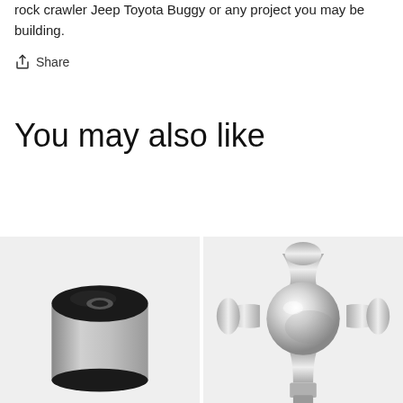rock crawler Jeep Toyota Buggy or any project you may be building.
Share
You may also like
[Figure (photo): A cylindrical rubber and steel suspension bushing, silver metallic with a black rubber top, viewed from slightly above.]
[Figure (photo): A chrome/polished aluminum rod end or heim joint with a cross-shaped body and a spherical bearing in the center, viewed from the front.]